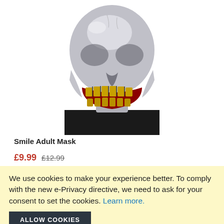[Figure (photo): A person wearing a metallic silver skull mask with an exaggerated open grin showing yellow-orange teeth with red gums, wearing a black top, on a white background.]
Smile Adult Mask
£9.99  £12.99
We use cookies to make your experience better. To comply with the new e-Privacy directive, we need to ask for your consent to set the cookies. Learn more.
ALLOW COOKIES